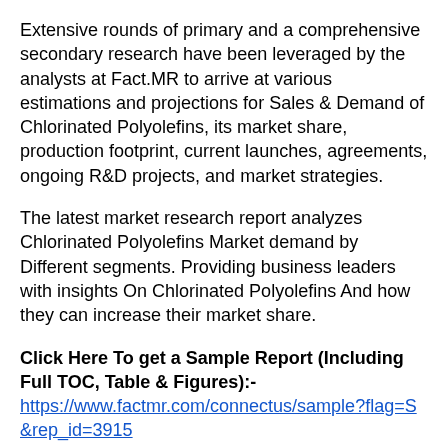Extensive rounds of primary and a comprehensive secondary research have been leveraged by the analysts at Fact.MR to arrive at various estimations and projections for Sales & Demand of Chlorinated Polyolefins, its market share, production footprint, current launches, agreements, ongoing R&D projects, and market strategies.
The latest market research report analyzes Chlorinated Polyolefins Market demand by Different segments. Providing business leaders with insights On Chlorinated Polyolefins And how they can increase their market share.
Click Here To get a Sample Report (Including Full TOC, Table & Figures):- https://www.factmr.com/connectus/sample?flag=S&rep_id=3915